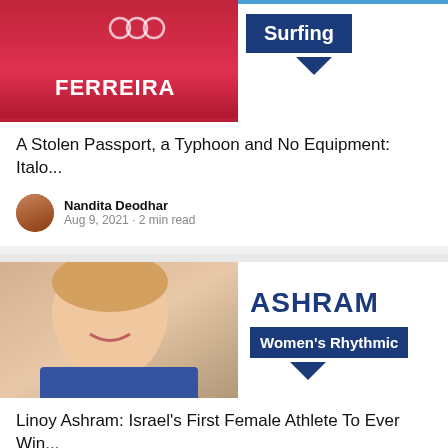[Figure (photo): Photo of Italo Ferreira in red Olympic surfing uniform with FERREIRA text, alongside a dark blue badge reading 'Surfing' with a downward chevron]
A Stolen Passport, a Typhoon and No Equipment: Italo...
Nandita Deodhar · Aug 9, 2021 · 2 min read
[Figure (photo): Photo of Linoy Ashram smiling, wearing blue jacket, alongside text 'ASHRAM' in bold dark blue and a banner reading 'Women's Rhythmic' with downward chevron]
Linoy Ashram: Israel's First Female Athlete To Ever Win...
Nandita Deodhar